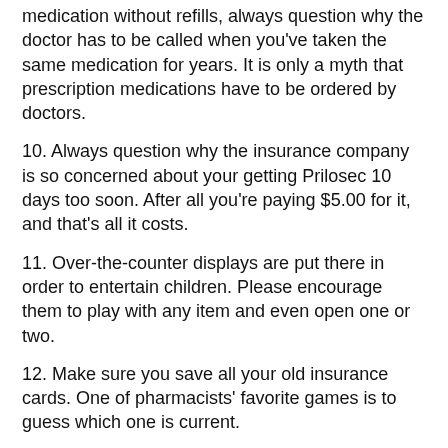medication without refills, always question why the doctor has to be called when you've taken the same medication for years. It is only a myth that prescription medications have to be ordered by doctors.
10. Always question why the insurance company is so concerned about your getting Prilosec 10 days too soon. After all you're paying $5.00 for it, and that's all it costs.
11. Over-the-counter displays are put there in order to entertain children. Please encourage them to play with any item and even open one or two.
12. Make sure you save all your old insurance cards. One of pharmacists' favorite games is to guess which one is current.
13. When you call in a prescription, just say, “Can I